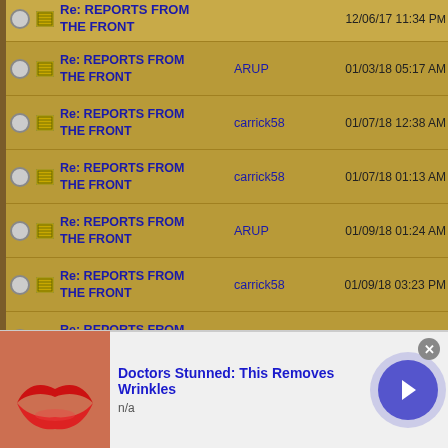Re: REPORTS FROM THE FRONT — 12/06/17 11:34 PM
Re: REPORTS FROM THE FRONT — ARUP — 01/03/18 05:17 AM
Re: REPORTS FROM THE FRONT — carrick58 — 01/07/18 12:38 AM
Re: REPORTS FROM THE FRONT — carrick58 — 01/07/18 01:13 AM
Re: REPORTS FROM THE FRONT — ARUP — 01/09/18 01:24 AM
Re: REPORTS FROM THE FRONT — carrick58 — 01/09/18 03:23 PM
Re: REPORTS FROM THE FRONT — carrick58 — 01/17/18 09:56 PM
Re: REPORTS FROM THE FRONT — ARUP — 02/14/18 02:57 AM
Re: REPORTS FROM — Rick_Rawlings — (partial)
[Figure (screenshot): Advertisement overlay: lips image on left, text 'Doctors Stunned: This Removes Wrinkles' with 'n/a' below, close button X top right, blue arrow button on right]